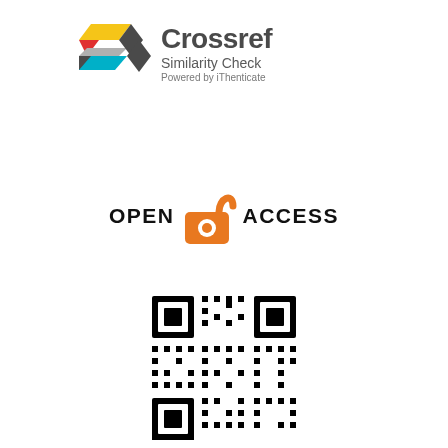[Figure (logo): Crossref Similarity Check powered by iThenticate logo with colorful geometric arrow shapes on the left and text on the right]
[Figure (logo): Open Access logo: orange unlocked padlock icon between 'OPEN' and 'ACCESS' text in bold black]
[Figure (other): QR code for IJDRA]
IJDRA QR CODE